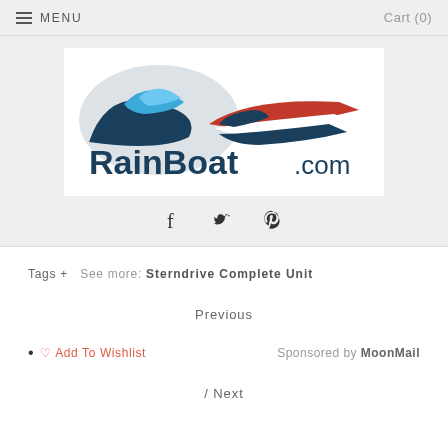MENU   Cart (0)
[Figure (logo): RainBoat.com logo with stylized boat and wave graphic in navy, blue, and red]
f  (twitter bird)  (pinterest)
Tags +   See more: Sterndrive Complete Unit
Previous
♡ Add To Wishlist    Sponsored by MoonMail
/ Next